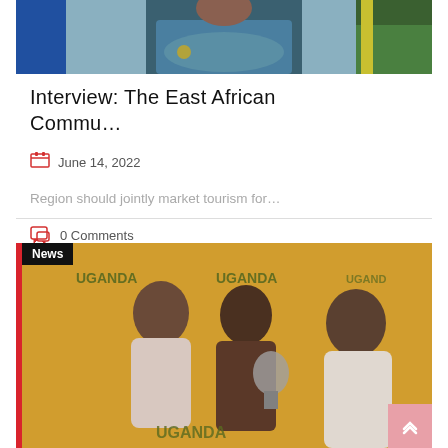[Figure (photo): Person in blue suit with arms crossed, seated at a table with flags in the background]
Interview: The East African Commu…
June 14, 2022
Region should jointly market tourism for…
0 Comments
[Figure (photo): Three people at an event in front of Uganda tourism branded backdrop; News badge visible in top left corner]